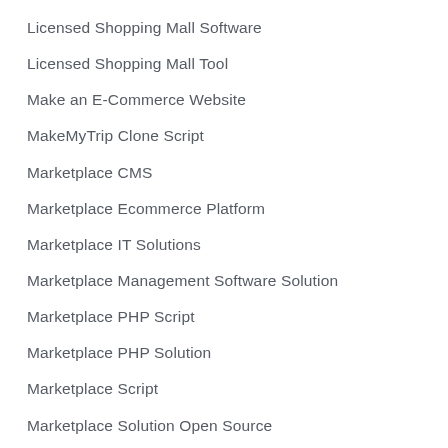Licensed Shopping Mall Software
Licensed Shopping Mall Tool
Make an E-Commerce Website
MakeMyTrip Clone Script
Marketplace CMS
Marketplace Ecommerce Platform
Marketplace IT Solutions
Marketplace Management Software Solution
Marketplace PHP Script
Marketplace PHP Solution
Marketplace Script
Marketplace Solution Open Source
Marketplace Web Development: How to Develop a